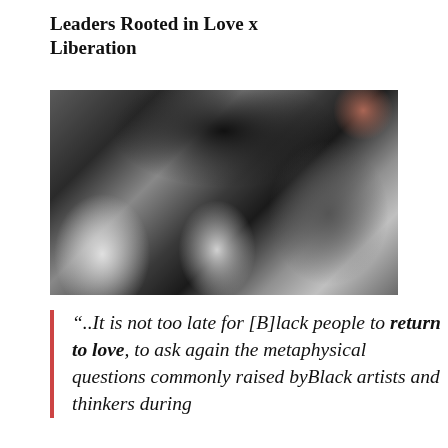Leaders Rooted in Love x Liberation
[Figure (photo): Black and white blurry group photo of people]
“..It is not too late for [B]lack people to return to love, to ask again the metaphysical questions commonly raised byBlack artists and thinkers during